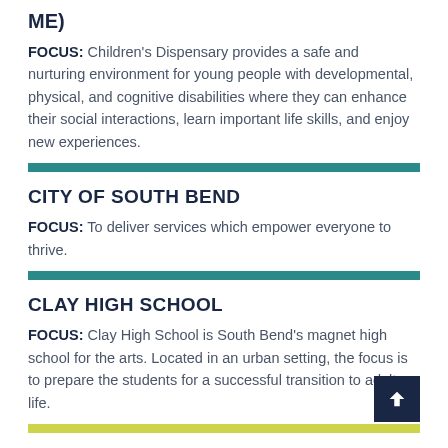ME)
FOCUS: Children's Dispensary provides a safe and nurturing environment for young people with developmental, physical, and cognitive disabilities where they can enhance their social interactions, learn important life skills, and enjoy new experiences.
CITY OF SOUTH BEND
FOCUS: To deliver services which empower everyone to thrive.
CLAY HIGH SCHOOL
FOCUS: Clay High School is South Bend's magnet high school for the arts. Located in an urban setting, the focus is to prepare the students for a successful transition to adult life.
CORVILLA, INC.
FOCUS: To provide homes, employment services, and educational and training programs for people with intellectual and developmental disabilities in St. Joseph and Elkhart Counties.
ELKHART GENERAL HOSPITAL VOLUNTEER